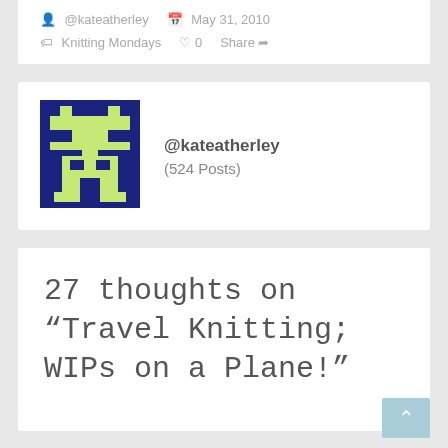@kateatherley  May 31, 2010
Knitting Mondays   ♡ 0   Share
[Figure (illustration): Pixel art avatar of @kateatherley — a retro space invader style character in dark navy blue and lime green on a dark blue background]
@kateatherley  (524 Posts)
27 thoughts on “Travel Knitting; WIPs on a Plane!”